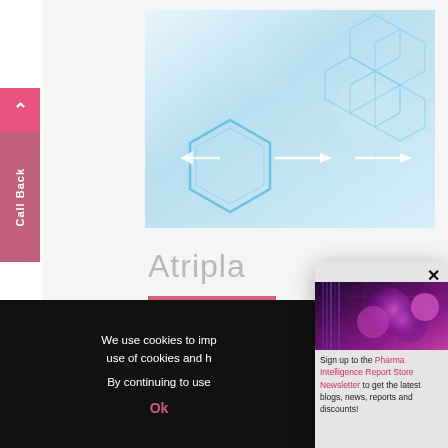[Figure (illustration): Hero banner showing glowing hexagonal network diagram with arrows on a light blue background]
Atripla
Read More
Atripla (efavi
[Figure (illustration): Purple and pink glowing spheres/cells on dark background, used as newsletter popup header image]
We use cookies to imp use of cookies and h
By continuing to use
Ok
Sign up to the Pharma Intelligence Report Store Newsletter to get the latest blogs, news, reports and discounts!